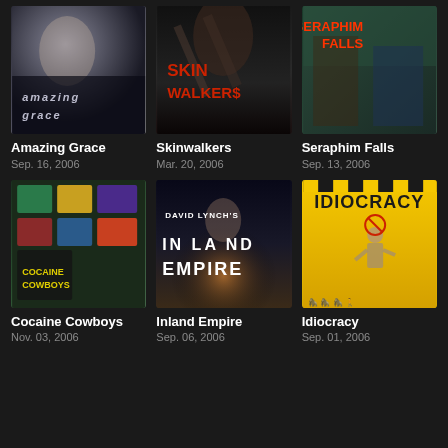[Figure (photo): Movie poster for Amazing Grace showing a woman in misty dark background with title text]
Amazing Grace
Sep. 16, 2006
[Figure (photo): Movie poster for Skinwalkers with dark background and red title text]
Skinwalkers
Mar. 20, 2006
[Figure (photo): Movie poster for Seraphim Falls showing two men and red title text]
Seraphim Falls
Sep. 13, 2006
[Figure (photo): Movie poster for Cocaine Cowboys with colorful collage and yellow title text]
Cocaine Cowboys
Nov. 03, 2006
[Figure (photo): Movie poster for David Lynch's Inland Empire with dark moody background]
Inland Empire
Sep. 06, 2006
[Figure (photo): Movie poster for Idiocracy with yellow background, man shrugging, and evolution silhouettes]
Idiocracy
Sep. 01, 2006